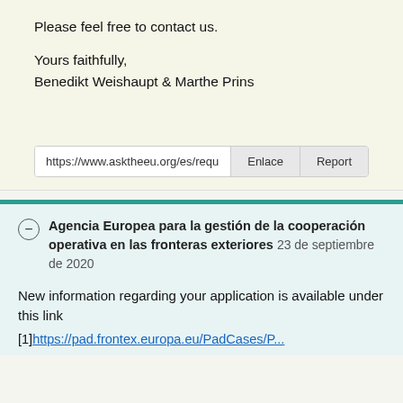Please feel free to contact us.

Yours faithfully,
Benedikt Weishaupt & Marthe Prins
https://www.asktheeu.org/es/requ  Enlace  Report
Agencia Europea para la gestión de la cooperación operativa en las fronteras exteriores 23 de septiembre de 2020
New information regarding your application is available under this link
[1]https://pad.frontex.europa.eu/PadCases/P...